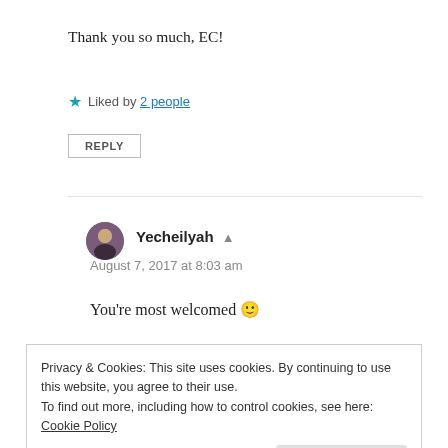Thank you so much, EC!
★ Liked by 2 people
REPLY
Yecheilyah
August 7, 2017 at 8:03 am
You're most welcomed 🙂
Privacy & Cookies: This site uses cookies. By continuing to use this website, you agree to their use.
To find out more, including how to control cookies, see here: Cookie Policy
Close and accept